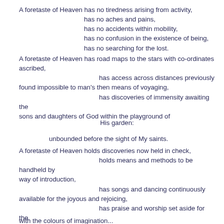A foretaste of Heaven has no tiredness arising from activity,
                    has no aches and pains,
                    has no accidents within mobility,
                    has no confusion in the existence of being,
                    has no searching for the lost.
A foretaste of Heaven has road maps to the stars with co-ordinates ascribed,
                              has access across distances previously found impossible to man's then means of voyaging,
                              has discoveries of immensity awaiting the sons and daughters of God within the playground of
His garden:
unbounded before the sight of My saints.
A foretaste of Heaven holds discoveries now held in check,
                              holds means and methods to be handheld by way of introduction,
                              has songs and dancing continuously available for the joyous and rejoicing,
                              has praise and worship set aside for the grateful and the thankful both of heart and temperament,
                              has the arts and crafts on schemes of grandeur where mountains may be dressed
with the colours of imagination...